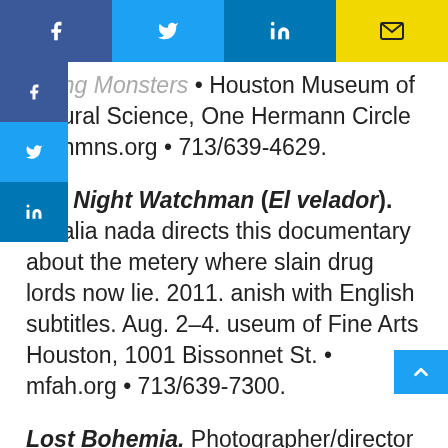[Figure (other): Social media share bar with Facebook, Twitter, LinkedIn, and email buttons]
Flying Monsters • Houston Museum of Natural Science, One Hermann Circle Dr. hmns.org • 713/639-4629.
The Night Watchman (El velador). Natalia nada directs this documentary about the metery where slain drug lords now lie. 2011. anish with English subtitles. Aug. 2–4. useum of Fine Arts Houston, 1001 Bissonnet St. • mfah.org • 713/639-7300.
Lost Bohemia. Photographer/director Josef Astor documents the former residents of Carnegie Hall's upstairs apartments. 2010. Aug. 9–11. Museum of Fine Arts Houston